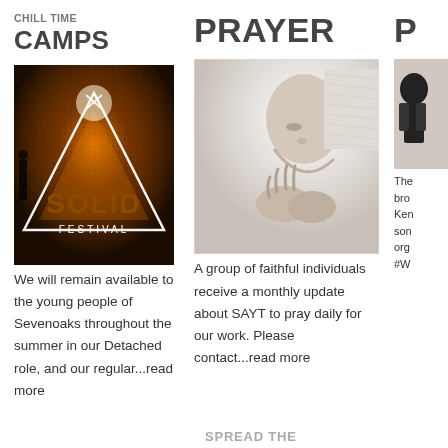CHILL TIME
CAMPS
PRAYER
P
[Figure (photo): Solid Festival promotional image with triangle/tent silhouette and orange bokeh light, text reading SOLID FESTIVAL]
[Figure (photo): Black and white photo of a child praying with hands clasped]
[Figure (photo): Partially visible black and white photo, right column]
We will remain available to the young people of Sevenoaks throughout the summer in our Detached role, and our regular...read more
A group of faithful individuals receive a monthly update about SAYT to pray daily for our work. Please contact...read more
The bro Ken son org #W
SPREAD THE